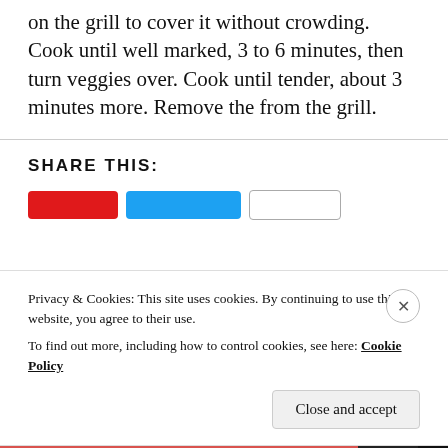on the grill to cover it without crowding. Cook until well marked, 3 to 6 minutes, then turn veggies over. Cook until tender, about 3 minutes more. Remove the from the grill.
SHARE THIS:
Privacy & Cookies: This site uses cookies. By continuing to use this website, you agree to their use.
To find out more, including how to control cookies, see here: Cookie Policy